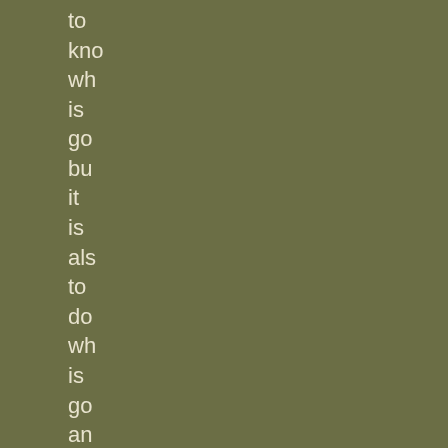to
kno
wh
is
go
bu
it
is
als
to
do
wh
is
go
an
to
do
it
en
tim
su
tha
doi